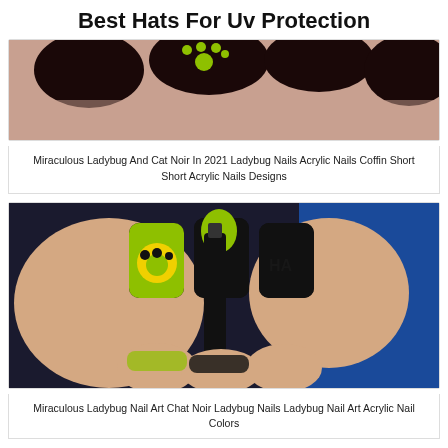Best Hats For Uv Protection
[Figure (photo): Close-up photo of dark nail polish with green paw print nail art design]
Miraculous Ladybug And Cat Noir In 2021 Ladybug Nails Acrylic Nails Coffin Short Short Acrylic Nails Designs
[Figure (photo): Close-up photo of black and yellow-green nail art with paw print designs, cat noir themed nails with a nail polish bottle]
Miraculous Ladybug Nail Art Chat Noir Ladybug Nails Ladybug Nail Art Acrylic Nail Colors